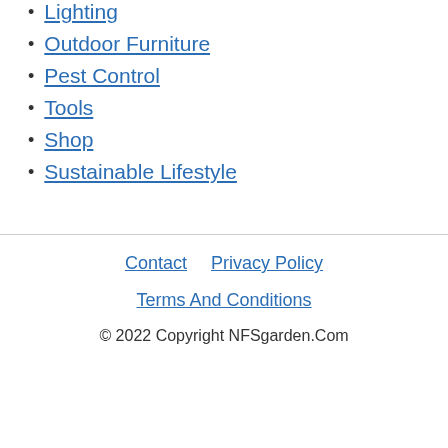Lighting
Outdoor Furniture
Pest Control
Tools
Shop
Sustainable Lifestyle
Contact   Privacy Policy   Terms And Conditions   © 2022 Copyright NFSgarden.Com